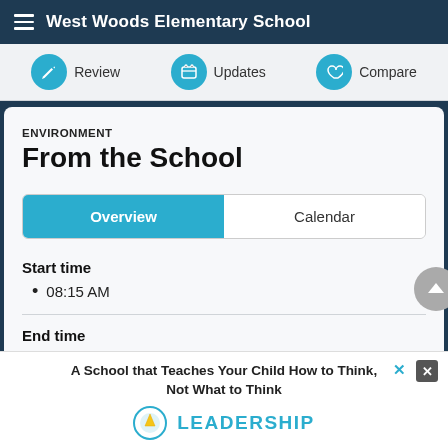West Woods Elementary School
Review  Updates  Compare
ENVIRONMENT
From the School
Overview  Calendar
Start time
08:15 AM
End time
02:55 PM
A School that Teaches Your Child How to Think, Not What to Think